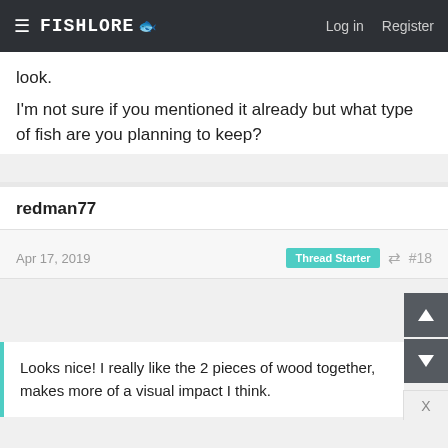FishLore | Log in | Register
look.
I'm not sure if you mentioned it already but what type of fish are you planning to keep?
redman77
Apr 17, 2019  Thread Starter  #18
Looks nice! I really like the 2 pieces of wood together, makes more of a visual impact I think.